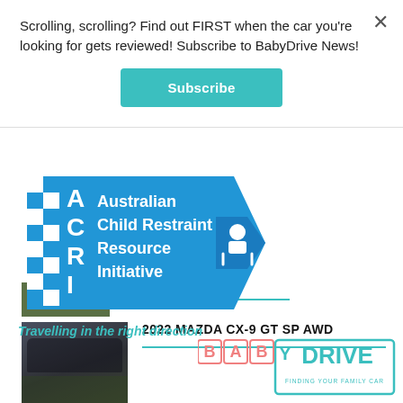Scrolling, scrolling? Find out FIRST when the car you're looking for gets reviewed! Subscribe to BabyDrive News!
[Figure (other): Subscribe button (teal/green rounded rectangle with white bold text 'Subscribe')]
[Figure (photo): Partial thumbnail of a car article at the top of the page content]
2022 MAZDA CX-9 GT SP AWD
[Figure (photo): Photo of a dark-coloured Mazda CX-9 parked outdoors with a person standing beside it]
[Figure (logo): ACRI (Australian Child Restraint Resource Initiative) logo – blue arrow sign shape with white text and a child seat icon, and tagline 'Travelling in the right direction' in teal]
[Figure (logo): BabyDrive logo – colourful block letters spelling BABYDRIVE with subtitle 'FINDING YOUR FAMILY CAR']